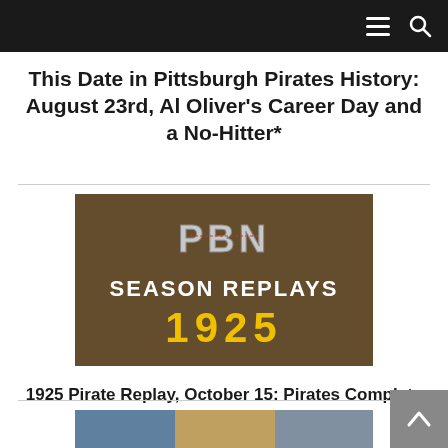Navigation bar with menu and search icons
This Date in Pittsburgh Pirates History: August 23rd, Al Oliver's Career Day and a No-Hitter*
[Figure (photo): PBN Season Replays 1925 promotional image showing a vintage sepia-toned team photo with 'PBN' logo text, 'SEASON REPLAYS' text in white, and '1925' in yellow]
1925 Pirate Replay, October 15: Pirates Complete Comeback to Win World Series
[Figure (photo): Partial view of another article image at the bottom of the page]